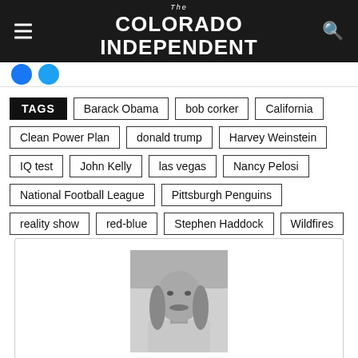The Colorado Independent
TAGS  Barack Obama  bob corker  California  Clean Power Plan  donald trump  Harvey Weinstein  IQ test  John Kelly  las vegas  Nancy Pelosi  National Football League  Pittsburgh Penguins  reality show  red-blue  Stephen Haddock  Wildfires
[Figure (photo): Black and white headshot of Mike Littwin, a man with long hair and a mustache]
Mike Littwin
He has covered Dr. J, four presidential inaugurations, six